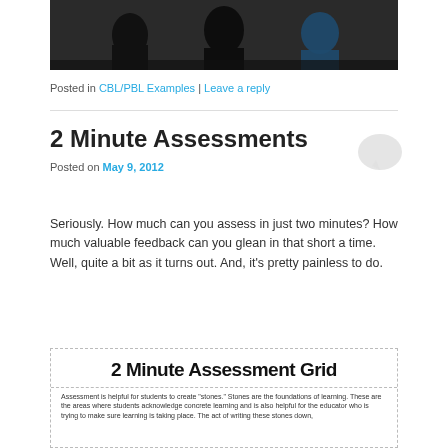[Figure (photo): Black and white photo showing people/students, partially visible at top of page]
Posted in CBL/PBL Examples | Leave a reply
2 Minute Assessments
Posted on May 9, 2012
Seriously. How much can you assess in just two minutes? How much valuable feedback can you glean in that short a time. Well, quite a bit as it turns out. And, it's pretty painless to do.
[Figure (infographic): 2 Minute Assessment Grid — bordered dashed box with bold title and descriptive text below about assessment helping students create 'stones' as foundations of learning]